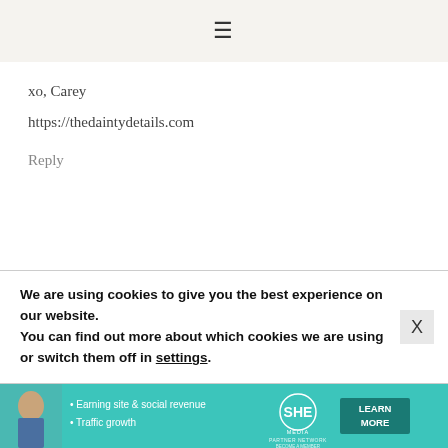≡
xo, Carey
https://thedaintydetails.com
Reply
JL@ A POCKETFUL OF POLKA DOTS SAYS
SEPTEMBER 25, 2020 AT 6:39 AM
We are using cookies to give you the best experience on our website.
You can find out more about which cookies we are using or switch them off in settings.
[Figure (infographic): SHE Media Partner Network advertisement banner with teal background, woman photo, bullet points about earning site & social revenue and traffic growth, SHE logo, and LEARN MORE button]